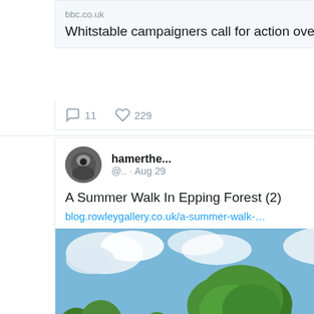bbc.co.uk
Whitstable campaigners call for action over raw sewage
11  229
hamerthe... @.. · Aug 29
A Summer Walk In Epping Forest (2)
blog.rowleygallery.co.uk/a-summer-walk-…
[Figure (photo): Photo of a large green tree in an open field with blue sky and white clouds in Epping Forest]
1